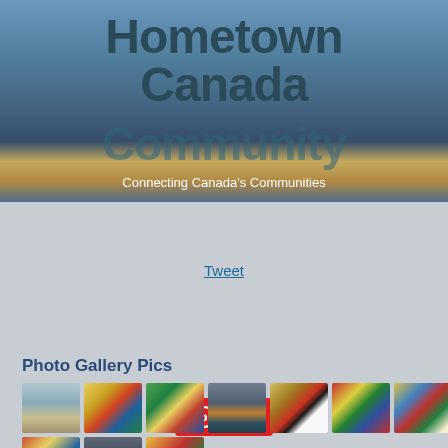[Figure (photo): Hometown Canada Community website banner showing Vancouver skyline at dusk with bridge, city lights reflected in water. Large bold text overlay reads 'Hometown Canada Community' with subtitle 'Connecting Canada's Communities'.]
Tweet
Save
Photo Gallery Pics
[Figure (photo): A row of 7 thumbnail images showing: a flat landscape/tidal flat, coat of arms (Alberta or Canada), coat of arms (green background), a city waterfront/marina, coat of arms (dark on white), coat of arms (colorful), coat of arms (blue and gold).]
[Figure (photo): A partial second row of thumbnails showing coat of arms and landscape images.]